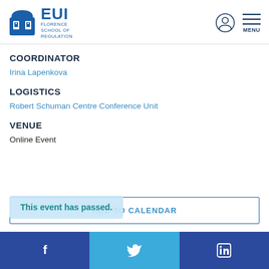EUI Florence School of Regulation
COORDINATOR
Irina Lapenkova
LOGISTICS
Robert Schuman Centre Conference Unit
VENUE
Online Event
ADD TO CALENDAR
This event has passed.